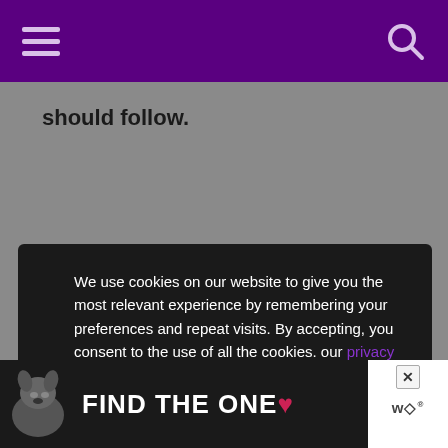[hamburger menu icon] [search icon]
should follow.
We use cookies on our website to give you the most relevant experience by remembering your preferences and repeat visits. By accepting, you consent to the use of all the cookies. our privacy policy, disclosure, and terms.
Accept
[Figure (screenshot): Advertisement banner at bottom showing a dog with text FIND THE ONE and a close button and Wag logo]